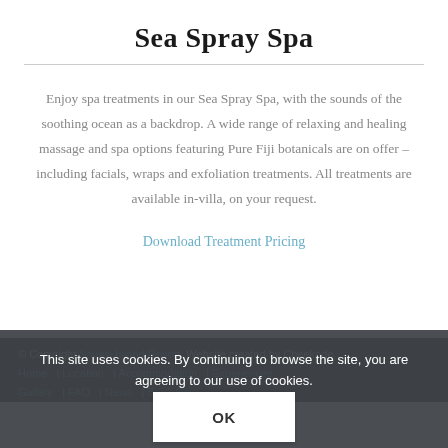Sea Spray Spa
Enjoy spa treatments in our Sea Spray Spa, with the sounds of the soothing ocean as a backdrop. A wide range of relaxing and healing massage and spa options featuring Pure Fiji botanicals are on offer – including facials, wraps and exfoliation treatments. All treatments are available in-villa, on your request.
Download Treatment Pricing
© Copyright Savasi Island Resort. Website created by Cheekode.
Home | Location | Accommodation | Experiences | Gallery | FAQ | News | Book Now